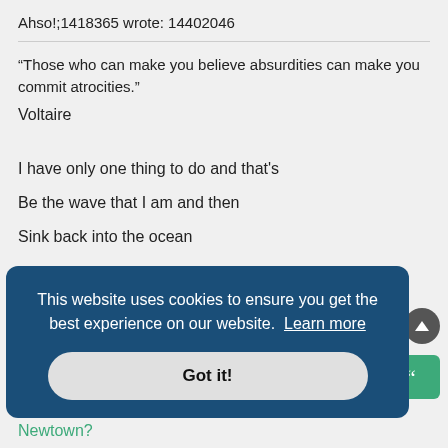Ahso!;1418365 wrote: 14402046
“Those who can make you believe absurdities can make you commit atrocities.”
Voltaire
I have only one thing to do and that's
Be the wave that I am and then
Sink back into the ocean
This website uses cookies to ensure you get the best experience on our website. Learn more
Got it!
Newtown?